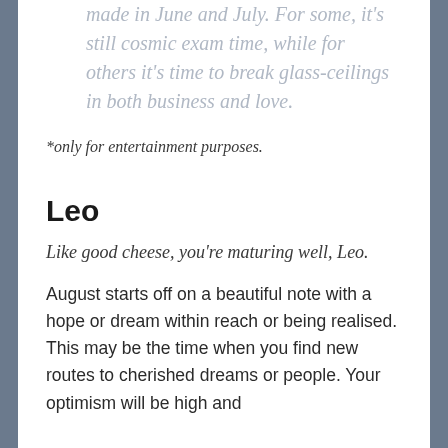made in June and July. For some, it's still cosmic exam time, while for others it's time to break glass-ceilings in both business and love.
*only for entertainment purposes.
Leo
Like good cheese, you're maturing well, Leo.
August starts off on a beautiful note with a hope or dream within reach or being realised. This may be the time when you find new routes to cherished dreams or people. Your optimism will be high and